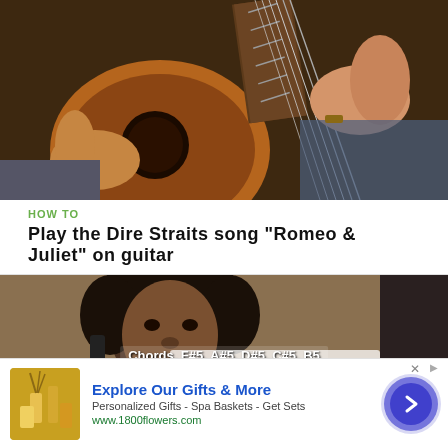[Figure (photo): Person's hands playing an acoustic guitar, close-up view of the guitar body and fretboard]
HOW TO
Play the Dire Straits song "Romeo & Juliet" on guitar
[Figure (photo): Young child with afro hairstyle, overlay text shows guitar chords: F#5, A#5, D#5, C#5, B5 and additional chord text below]
[Figure (other): Advertisement banner: Explore Our Gifts & More - Personalized Gifts - Spa Baskets - Get Sets - www.1800flowers.com, with product image and arrow button]